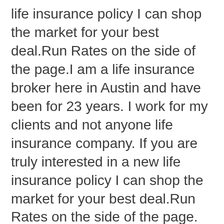life insurance policy I can shop the market for your best deal.Run Rates on the side of the page.I am a life insurance broker here in Austin and have been for 23 years. I work for my clients and not anyone life insurance company. If you are truly interested in a new life insurance policy I can shop the market for your best deal.Run Rates on the side of the page.
I am a life insurance broker here in Austin and have been for 23 years. I work for my clients and not anyone life insurance company. If you are truly interested in a new life insurance policy I can shop the market for your best deal.Run Rates on the side of the page.I am a life insurance broker here in Austin and have been for 23 years. I work for my clients and not anyone life insurance company. If you are truly interested in a new life insurance policy I can shop the market for your best deal.